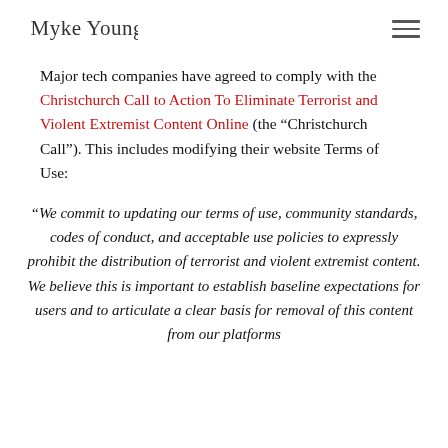Myke Young [logo/signature]
Major tech companies have agreed to comply with the Christchurch Call to Action To Eliminate Terrorist and Violent Extremist Content Online (the “Christchurch Call”). This includes modifying their website Terms of Use:
“We commit to updating our terms of use, community standards, codes of conduct, and acceptable use policies to expressly prohibit the distribution of terrorist and violent extremist content. We believe this is important to establish baseline expectations for users and to articulate a clear basis for removal of this content from our platforms